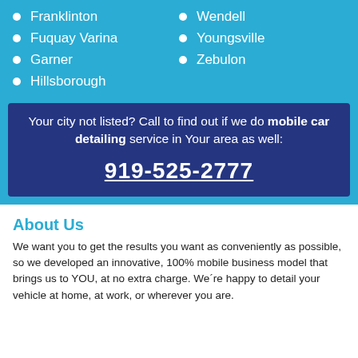Franklinton
Wendell
Fuquay Varina
Youngsville
Garner
Zebulon
Hillsborough
Your city not listed? Call to find out if we do mobile car detailing service in Your area as well: 919-525-2777
About Us
We want you to get the results you want as conveniently as possible, so we developed an innovative, 100% mobile business model that brings us to YOU, at no extra charge. We´re happy to detail your vehicle at home, at work, or wherever you are.